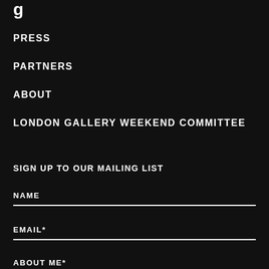PRESS
PARTNERS
ABOUT
LONDON GALLERY WEEKEND COMMITTEE
SIGN UP TO OUR MAILING LIST
NAME
EMAIL*
ABOUT ME*